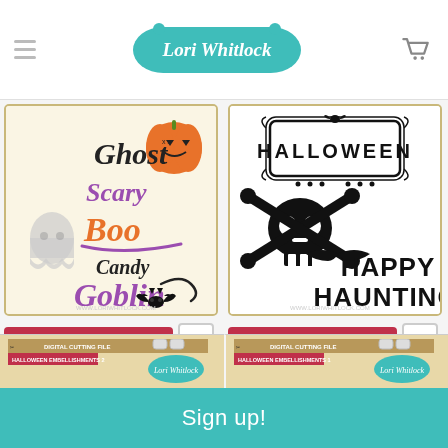Lori Whitlock
[Figure (illustration): Halloween Words craft cut file product image showing Ghost, Scary, Boo, Candy, Goblin words with pumpkin, ghost, and bat graphics in orange and purple on cream background]
CHOOSE OPTIONS
Halloween Words
Lori Whitlock
$1.49
[Figure (illustration): Halloween Titles and Skull craft cut file product image showing Halloween in decorative frame, skull and crossbones, and Happy Haunting text in bold black on white background]
CHOOSE OPTIONS
Halloween Titles and Skull
Lori Whitlock
$2.99
[Figure (illustration): Partial preview of Halloween Embellishments 2 product packaging]
[Figure (illustration): Partial preview of Halloween Embellishments 1 product packaging]
Sign up!